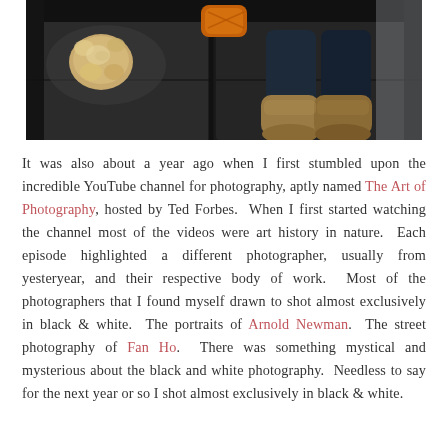[Figure (photo): Overhead photo of a dark leather sofa with a small fluffy dog sitting on the left cushion and a person's legs with UGG-style boots resting on the right, with an orange decorative stool in the background]
It was also about a year ago when I first stumbled upon the incredible YouTube channel for photography, aptly named The Art of Photography, hosted by Ted Forbes.  When I first started watching the channel most of the videos were art history in nature.  Each episode highlighted a different photographer, usually from yesteryear, and their respective body of work.  Most of the photographers that I found myself drawn to shot almost exclusively in black & white.  The portraits of Arnold Newman.  The street photography of Fan Ho.  There was something mystical and mysterious about the black and white photography.  Needless to say for the next year or so I shot almost exclusively in black & white.